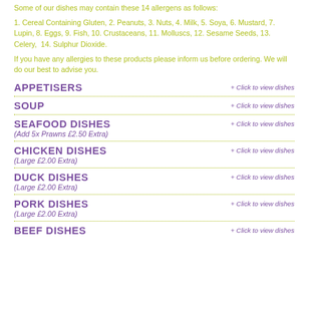Some of our dishes may contain these 14 allergens as follows:
1. Cereal Containing Gluten, 2. Peanuts, 3. Nuts, 4. Milk, 5. Soya, 6. Mustard, 7. Lupin, 8. Eggs, 9. Fish, 10. Crustaceans, 11. Molluscs, 12. Sesame Seeds, 13. Celery, 14. Sulphur Dioxide.
If you have any allergies to these products please inform us before ordering. We will do our best to advise you.
APPETISERS
SOUP
SEAFOOD DISHES
(Add 5x Prawns £2.50 Extra)
CHICKEN DISHES
(Large £2.00 Extra)
DUCK DISHES
(Large £2.00 Extra)
PORK DISHES
(Large £2.00 Extra)
BEEF DISHES